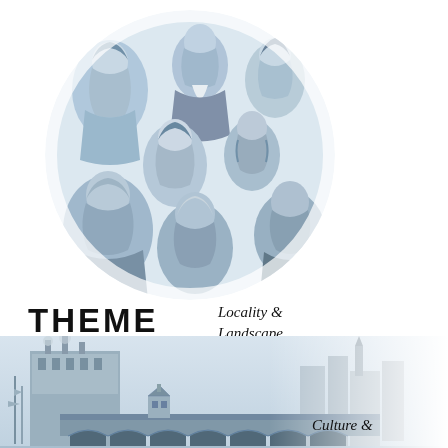[Figure (illustration): Circular group portrait of industrialists, engineers, artists, thinkers and writers from the Industrial Enlightenment era, rendered in blue-grey tones]
Industrialists, engineers, artists, thinkers and writers who contributed to the Industrial Enlightenment, technology, art, culture, religion and politics.
THEME
Locality & Landscape
[Figure (illustration): Historical landscape scene showing a bridge with arches, buildings, ships, and circular medallion portraits including a Black figure and other historical persons, rendered in blue-grey tones]
Culture &